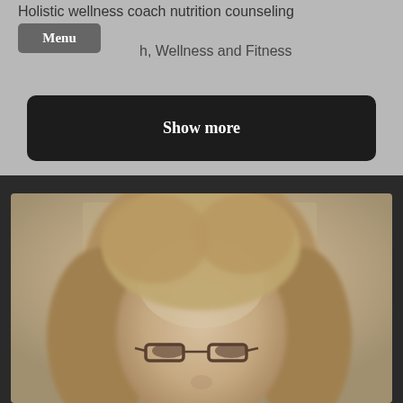Holistic wellness coach nutrition counseling
h, Wellness and Fitness
Menu
Show more
[Figure (photo): Close-up portrait photo of a woman with glasses and long blonde hair, rendered in sepia/warm tones, slightly blurred]